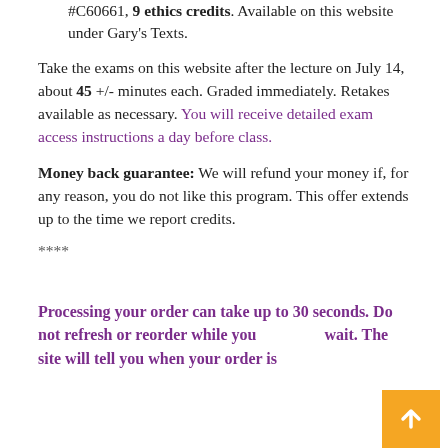#C60661, 9 ethics credits. Available on this website under Gary's Texts.
Take the exams on this website after the lecture on July 14, about 45 +/- minutes each. Graded immediately. Retakes available as necessary. You will receive detailed exam access instructions a day before class.
Money back guarantee: We will refund your money if, for any reason, you do not like this program. This offer extends up to the time we report credits.
****
Processing your order can take up to 30 seconds. Do not refresh or reorder while you wait. The site will tell you when your order is